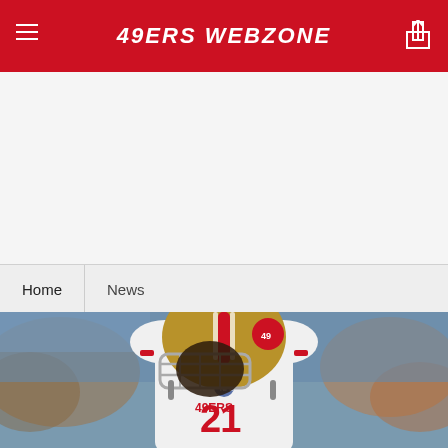49ERS WEBZONE
Home | News
[Figure (photo): San Francisco 49ers player wearing white jersey with number 21 and red '49ers' text, gold helmet with red stripe, on a football field with blurred crowd in background]